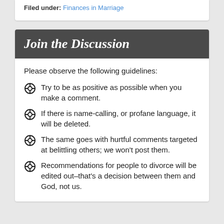Filed under: Finances in Marriage
Join the Discussion
Please observe the following guidelines:
Try to be as positive as possible when you make a comment.
If there is name-calling, or profane language, it will be deleted.
The same goes with hurtful comments targeted at belittling others; we won't post them.
Recommendations for people to divorce will be edited out–that's a decision between them and God, not us.